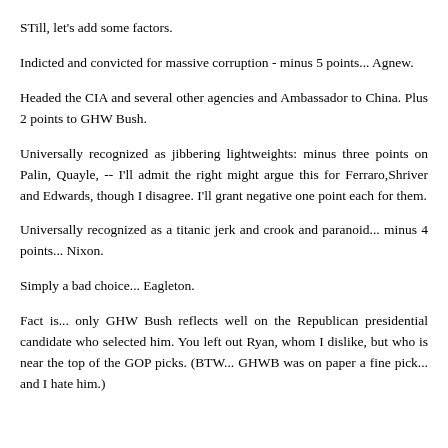STill, let's add some factors.
Indicted and convicted for massive corruption - minus 5 points... Agnew.
Headed the CIA and several other agencies and Ambassador to China. Plus 2 points to GHW Bush.
Universally recognized as jibbering lightweights: minus three points on Palin, Quayle, -- I'll admit the right might argue this for Ferraro,Shriver and Edwards, though I disagree. I'll grant negative one point each for them.
Universally recognized as a titanic jerk and crook and paranoid... minus 4 points... Nixon.
Simply a bad choice... Eagleton.
Fact is... only GHW Bush reflects well on the Republican presidential candidate who selected him. You left out Ryan, whom I dislike, but who is near the top of the GOP picks. (BTW... GHWB was on paper a fine pick... and I hate him.)